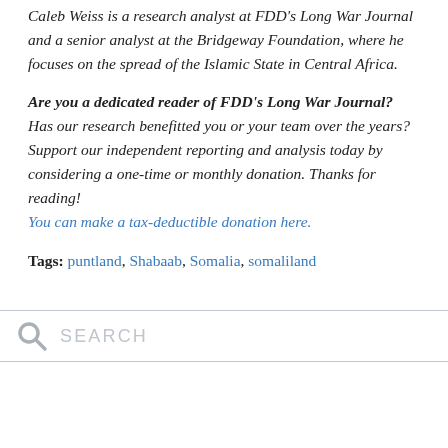Caleb Weiss is a research analyst at FDD's Long War Journal and a senior analyst at the Bridgeway Foundation, where he focuses on the spread of the Islamic State in Central Africa.
Are you a dedicated reader of FDD's Long War Journal? Has our research benefitted you or your team over the years? Support our independent reporting and analysis today by considering a one-time or monthly donation. Thanks for reading! You can make a tax-deductible donation here.
Tags: puntland, Shabaab, Somalia, somaliland
[Figure (other): Search bar with magnifying glass icon and placeholder text SEARCH]